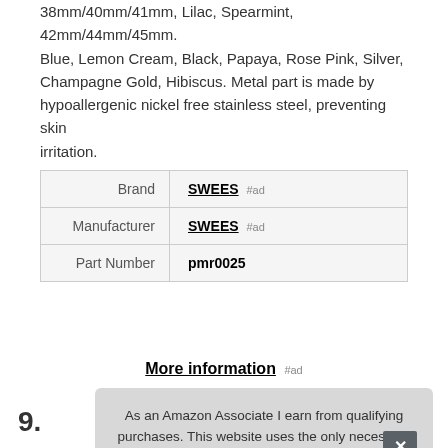38mm/40mm/41mm, Lilac, Spearmint, 42mm/44mm/45mm. Blue, Lemon Cream, Black, Papaya, Rose Pink, Silver, Champagne Gold, Hibiscus. Metal part is made by hypoallergenic nickel free stainless steel, preventing skin irritation.
| Brand | SWEES #ad |
| Manufacturer | SWEES #ad |
| Part Number | pmr0025 |
More information #ad
As an Amazon Associate I earn from qualifying purchases. This website uses the only necessary cookies to ensure you get the best experience on our website. More information